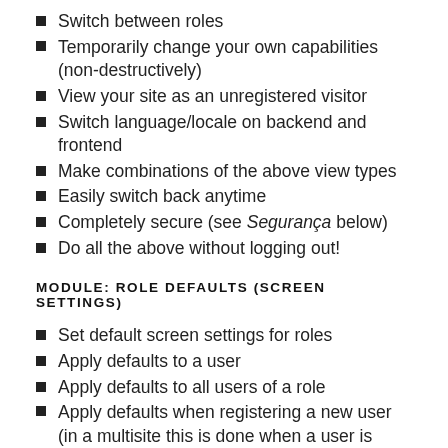Switch between roles
Temporarily change your own capabilities (non-destructively)
View your site as an unregistered visitor
Switch language/locale on backend and frontend
Make combinations of the above view types
Easily switch back anytime
Completely secure (see Segurança below)
Do all the above without logging out!
MODULE: ROLE DEFAULTS (SCREEN SETTINGS)
Set default screen settings for roles
Apply defaults to a user
Apply defaults to all users of a role
Apply defaults when registering a new user (in a multisite this is done when a user is added to its first blog)
Copy defaults from one role to another (or